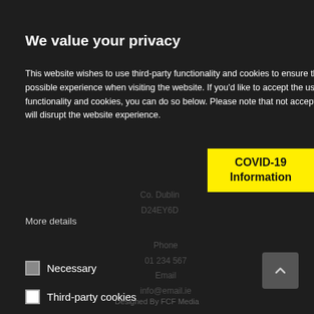We value your privacy
This website wishes to use third-party functionality and cookies to ensure that you have the best possible experience when visiting the website. If you'd like to accept the use of third-party functionality and cookies, you can do so below. Please note that not accepting third-party cookies will disrupt the website experience.
More details
Necessary
Third-party cookies
Accept selected
Accept all
[Figure (infographic): Yellow COVID-19 Information badge overlaid on the right side]
Designed By FCF Media